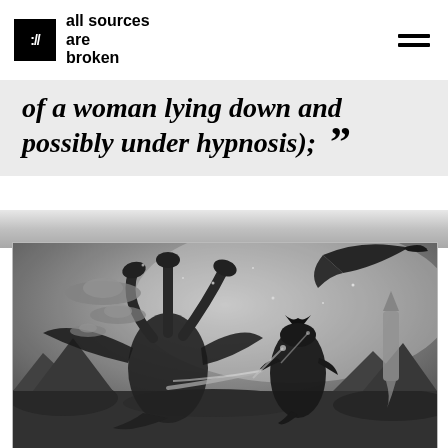:/// all sources are broken
of a woman lying down and possibly under hypnosis);  ”
[Figure (photo): Black and white still from a monster movie showing Godzilla and other kaiju creatures (including a three-headed dragon/Ghidorah and a winged monster/Rodan) with flying saucers in the background and a rocket on the right side.]